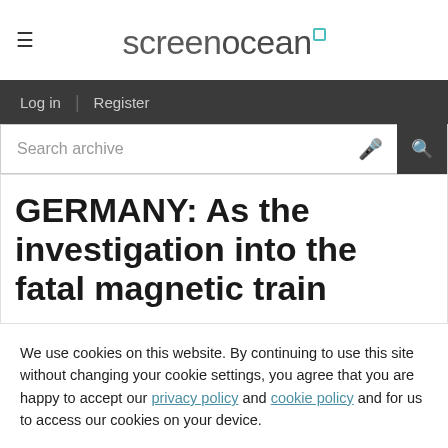[Figure (logo): Screenocean logo with hamburger menu icon on the left]
Log in | Register
Search archive
GERMANY: As the investigation into the fatal magnetic train
We use cookies on this website. By continuing to use this site without changing your cookie settings, you agree that you are happy to accept our privacy policy and cookie policy and for us to access our cookies on your device.
Record ID: 5215041
Accept